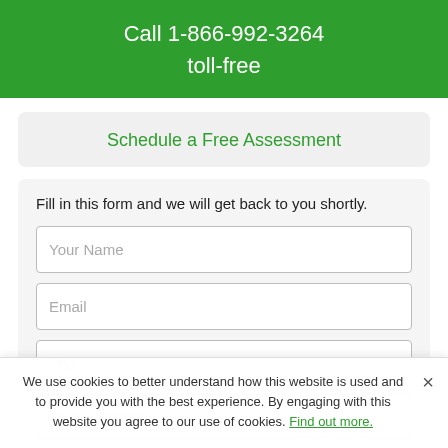Call 1-866-992-3264
toll-free
Schedule a Free Assessment
Fill in this form and we will get back to you shortly.
Your Name
Email
Phone
Your Message...
We use cookies to better understand how this website is used and to provide you with the best experience. By engaging with this website you agree to our use of cookies. Find out more.